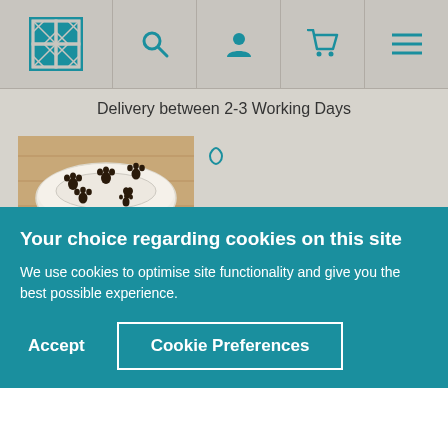Navigation bar with logo, search, account, cart, and menu icons
Delivery between 2-3 Working Days
[Figure (photo): White ceramic pet bowl with black paw print patterns on a wooden surface]
16th Apr 2020
[Figure (photo): Person with beard outdoors with autumn foliage background]
Your choice regarding cookies on this site
We use cookies to optimise site functionality and give you the best possible experience.
Accept
Cookie Preferences